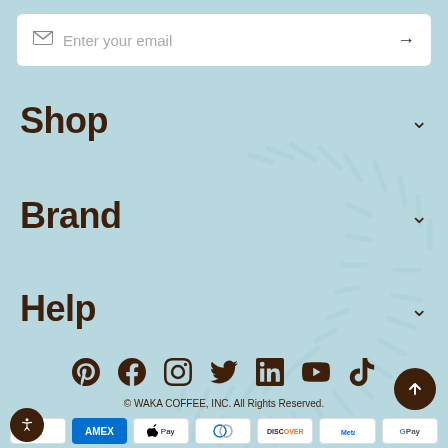Enter your email
Shop
Brand
Help
[Figure (infographic): Row of social media icons: Pinterest, Facebook, Instagram, Twitter/X, LinkedIn, YouTube, TikTok]
© WAKA COFFEE, INC. All Rights Reserved.
[Figure (infographic): Payment method badges: Amazon, Amex, Apple Pay, Diners Club, Discover, Meta Pay, Google Pay]